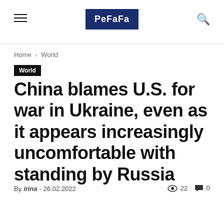PeFaFa
Home › World
World
China blames U.S. for war in Ukraine, even as it appears increasingly uncomfortable with standing by Russia
By irina - 26.02.2022  22  0